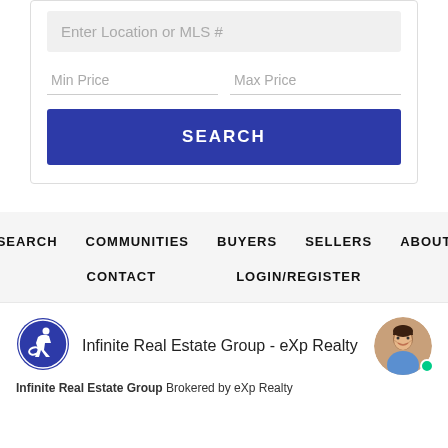Enter Location or MLS #
Min Price
Max Price
SEARCH
SEARCH
COMMUNITIES
BUYERS
SELLERS
ABOUT
CONTACT
LOGIN/REGISTER
[Figure (logo): Accessibility icon - blue circle with wheelchair user symbol]
Infinite Real Estate Group - eXp Realty
[Figure (photo): Agent headshot - woman with dark hair smiling, green online indicator dot]
Infinite Real Estate Group Brokered by eXp Realty